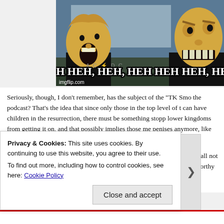[Figure (illustration): Beavis and Butt-Head meme image with text 'HEH HEH, HEH, HEH HEH HEH, HEH!' and imgflip.com watermark]
Seriously, though, I don't remember, has the subject of the "TK Smo the podcast? That's the idea that since only those in the top level of t can have children in the resurrection, there must be something stopp lower kingdoms from getting it on, and that possibly implies those me penises anymore, like Ken dolls.
But since the Book of Mormon states that, in the resurrection, even a shall not be lost (and is a penis not more important than a measly ha those less worthy Terrestrial and Telestial men will be simply unable
Privacy & Cookies: This site uses cookies. By continuing to use this website, you agree to their use.
To find out more, including how to control cookies, see here: Cookie Policy
Close and accept